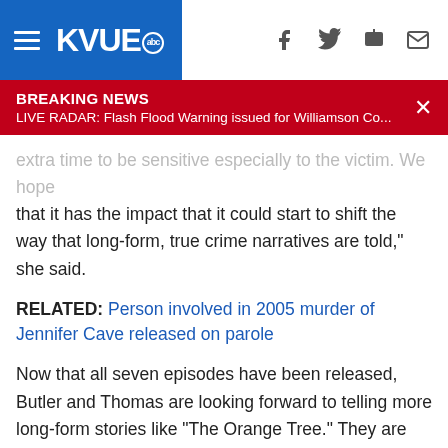KVUE abc
BREAKING NEWS
LIVE RADAR: Flash Flood Warning issued for Williamson Co...
extra time to be sensitive especially to the victim. We hope that it has the impact that it could start to shift the way that long-form, true crime narratives are told," she said.
RELATED: Person involved in 2005 murder of Jennifer Cave released on parole
Now that all seven episodes have been released, Butler and Thomas are looking forward to telling more long-form stories like "The Orange Tree." They are also excited to help the next wave of journalists at The Drag. Thomas knows they can bring valuable knowledge to future storytellers.
"We're taking everything we learned from this long-form project and really just applying it to their projects as well and guiding them along the way," Thomas said.